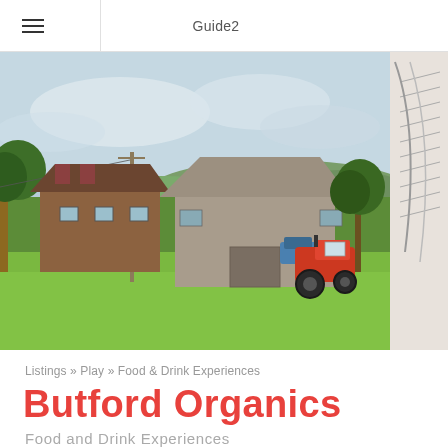Guide2
[Figure (photo): Farm scene with red tractor parked in a green field, farm buildings and rolling hills in the background under a cloudy sky]
[Figure (photo): Partial view of a second image on the right side, appears to show a book or document with illustrated content]
Listings » Play » Food & Drink Experiences
Butford Organics
Food and Drink Experiences